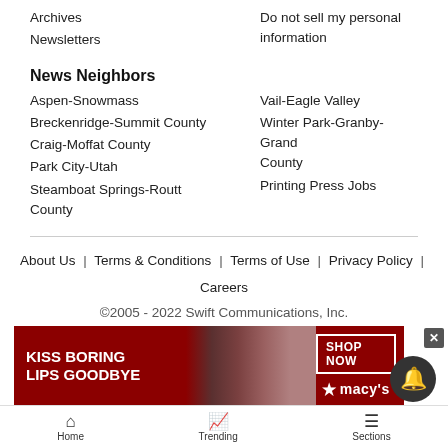Archives
Newsletters
Do not sell my personal information
News Neighbors
Aspen-Snowmass
Breckenridge-Summit County
Craig-Moffat County
Park City-Utah
Steamboat Springs-Routt County
Vail-Eagle Valley
Winter Park-Granby-Grand County
Printing Press Jobs
About Us | Terms & Conditions | Terms of Use | Privacy Policy | Careers
©2005 - 2022 Swift Communications, Inc.
[Figure (photo): Macy's advertisement banner: KISS BORING LIPS GOODBYE with SHOP NOW button and Macy's star logo, featuring a woman's face]
Home | Trending | Sections